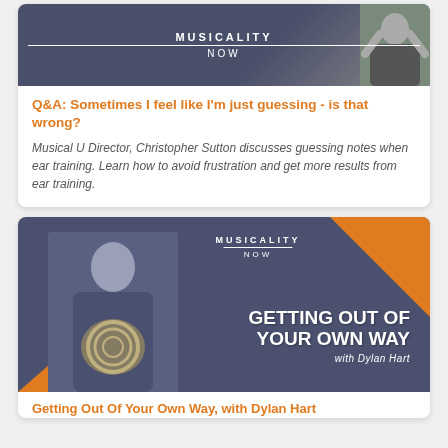[Figure (photo): Musicality Now podcast banner with logo and person in background]
Q&A: Sometimes I feel like I'm just guessing - is that wrong?
Musical U Director, Christopher Sutton discusses guessing notes when ear training. Learn how to avoid frustration and get more results from ear training.
[Figure (photo): Musicality Now banner for 'Getting Out of Your Own Way with Dylan Hart' showing a man holding a French horn]
Getting Out Of Your Own Way, with Dylan Hart